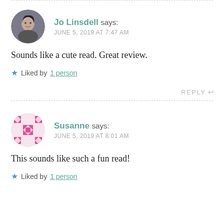Jo Linsdell says: JUNE 5, 2019 AT 7:47 AM
Sounds like a cute read. Great review.
Liked by 1 person
REPLY
Susanne says: JUNE 5, 2019 AT 8:01 AM
This sounds like such a fun read!
Liked by 1 person